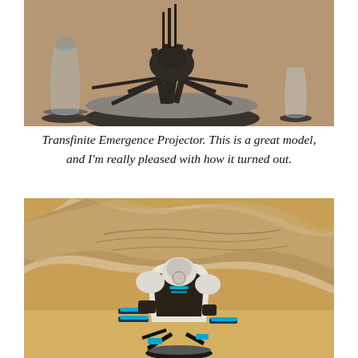[Figure (photo): Photo of a painted miniature tabletop figure called the Transfinite Emergence Projector — a large spider-like mechanical model on a round base with grey grit basing, flanked by smaller transparent figures, placed on a coffee-bean patterned surface.]
Transfinite Emergence Projector. This is a great model, and I'm really pleased with how it turned out.
[Figure (photo): Photo of a painted sci-fi robot miniature (mech/battlesuit) with white and dark brown armor panels and bright teal/blue weapon barrels, posed dynamically on a round grey base. Rocky tan/beige terrain in the background.]